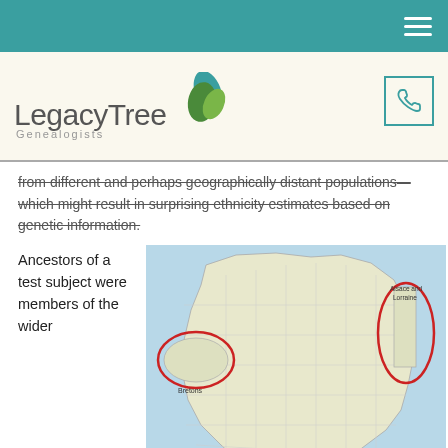LegacyTree Genealogists navigation header
[Figure (logo): LegacyTree Genealogists logo with leaf graphic in teal and green]
from different and perhaps geographically distant populations—which might result in surprising ethnicity estimates based on genetic information.
Ancestors of a test subject were members of the wider
[Figure (map): Map of France and surrounding regions with three red circles highlighting Brittany (Bretons label), Alsace and Lorraine, and Basque Country regions]